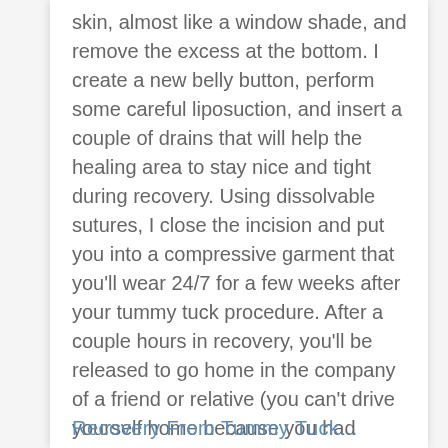skin, almost like a window shade, and remove the excess at the bottom. I create a new belly button, perform some careful liposuction, and insert a couple of drains that will help the healing area to stay nice and tight during recovery. Using dissolvable sutures, I close the incision and put you into a compressive garment that you'll wear 24/7 for a few weeks after your tummy tuck procedure. After a couple hours in recovery, you'll be released to go home in the company of a friend or relative (you can't drive yourself home because you had general anesthesia).
Recovery From Tummy Tuck...